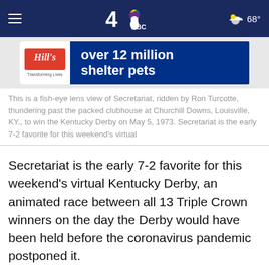NBC 4 — 68°
[Figure (other): Hill's Pet Nutrition advertisement banner: over 12 million shelter pets]
This is a fish-eye lens view of Secretariat, ridden by Ron Turcotte, thundering past the packed clubhouse at Churchill Downs, Louisville, KY., to win the Kentucky Derby on May 5, 1973. Secretariat is the early 7-2 favorite for this weekend's virtual
Secretariat is the early 7-2 favorite for this weekend's virtual Kentucky Derby, an animated race between all 13 Triple Crown winners on the day the Derby would have been held before the coronavirus pandemic postponed it.
The virtual Derby will use computer-generated imagery of the 13 horses running the 1 1/4-mile race at Churchill Downs. It will be shown as part of NBC's three hours of coverage on Saturday.